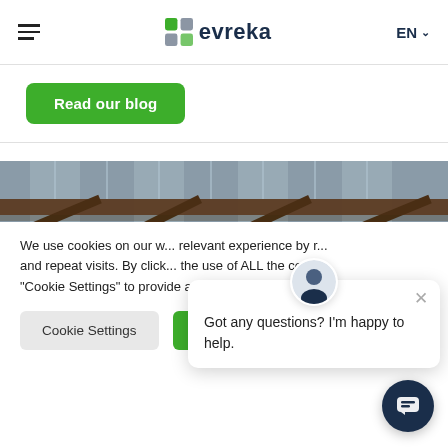evreka — EN
Read our blog
[Figure (photo): Interior of a warehouse or industrial building showing a metal roof structure with corrugated panels and wooden beams from below.]
We use cookies on our w... relevant experience by r... and repeat visits. By click... the use of ALL the cooki... "Cookie Settings" to provide a controlled consent.
Got any questions? I'm happy to help.